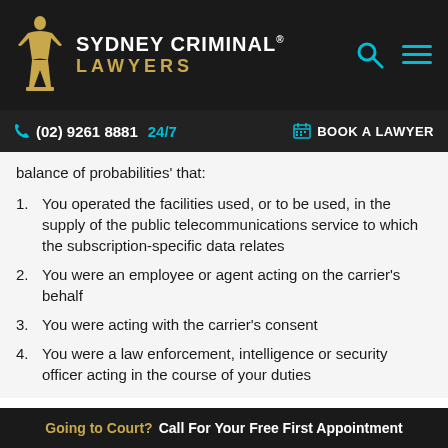SYDNEY CRIMINAL® LAWYERS
(02) 9261 8881 24/7  BOOK A LAWYER
balance of probabilities' that:
You operated the facilities used, or to be used, in the supply of the public telecommunications service to which the subscription-specific data relates
You were an employee or agent acting on the carrier's behalf
You were acting with the carrier's consent
You were a law enforcement, intelligence or security officer acting in the course of your duties
Going to Court? Call For Your Free First Appointment